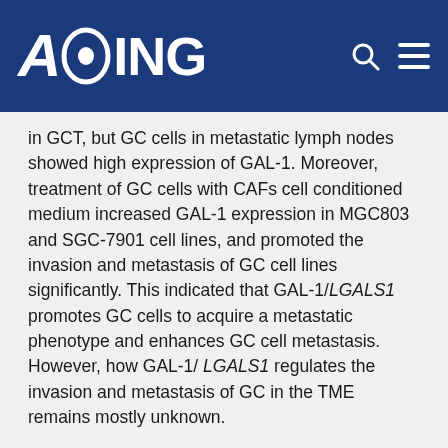AGING
in GCT, but GC cells in metastatic lymph nodes showed high expression of GAL-1. Moreover, treatment of GC cells with CAFs cell conditioned medium increased GAL-1 expression in MGC803 and SGC-7901 cell lines, and promoted the invasion and metastasis of GC cell lines significantly. This indicated that GAL-1/LGALS1 promotes GC cells to acquire a metastatic phenotype and enhances GC cell metastasis. However, how GAL-1/ LGALS1 regulates the invasion and metastasis of GC in the TME remains mostly unknown.
For the invasion and metastasis of malignant tumors, EMT is a vital step [21], prompting us to hypothesize that GAL-1/LGALS1 via EMT promotes GC invasion and metastasis. This hypothesis was tested by examining the EMT-related biomarkers Vimentin and E-Cadherin in GC and metastatic lymph nodes with IHC